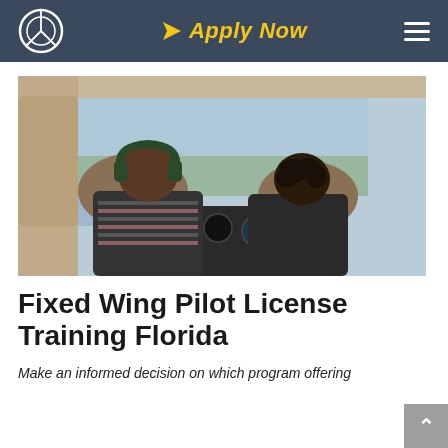Apply Now
[Figure (photo): Interior cockpit view of a small aircraft with two pilots seated, one wearing headphones, looking through the windshield at a landscape below.]
Fixed Wing Pilot License Training Florida
Make an informed decision on which program offering